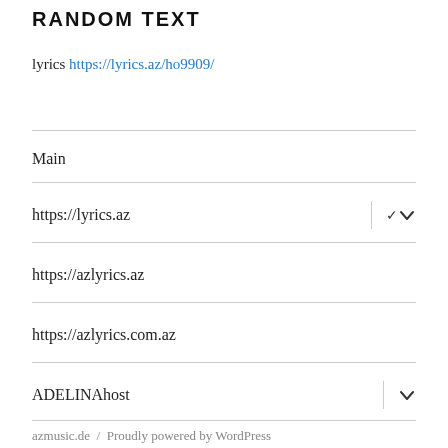RANDOM TEXT
lyrics https://lyrics.az/ho9909/
Main
https://lyrics.az
https://azlyrics.az
https://azlyrics.com.az
ADELINAhost
azmusic.de / Proudly powered by WordPress